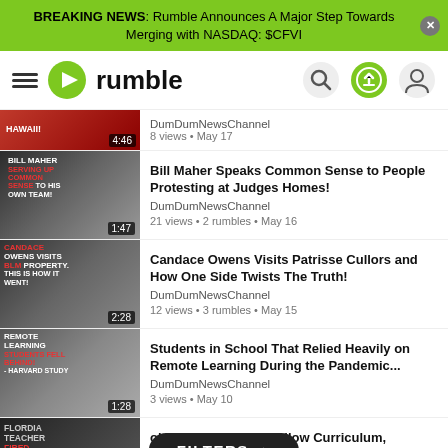BREAKING NEWS: Rumble Announces A Major Step Towards Merging with NASDAQ: $CFVI
[Figure (screenshot): Rumble video platform navigation bar with hamburger menu, Rumble logo, search icon, upload icon, and user icon]
DumDumNewsChannel
8 views • May 17
[Figure (screenshot): Video thumbnail: Bill Maher Serving Up Common Sense To His Own Team, duration 1:47]
Bill Maher Speaks Common Sense to People Protesting at Judges Homes!
DumDumNewsChannel
21 views • 2 rumbles • May 16
[Figure (screenshot): Video thumbnail: Candace Owens Visits BLM Property. This Is How It Went!, duration 2:28]
Candace Owens Visits Patrisse Cullors and How One Side Twists The Truth!
DumDumNewsChannel
12 views • 3 rumbles • May 15
[Figure (screenshot): Video thumbnail: Remote Learning Students Fell Behind! - Harvard Study, duration 1:28]
Students in School That Relied Heavily on Remote Learning During the Pandemic...
DumDumNewsChannel
3 views • May 10
[Figure (screenshot): Video thumbnail: Florida Teacher Fired, partially visible at bottom]
ol Teacher Doesn't Follow Curriculum, Discusses Gender in…